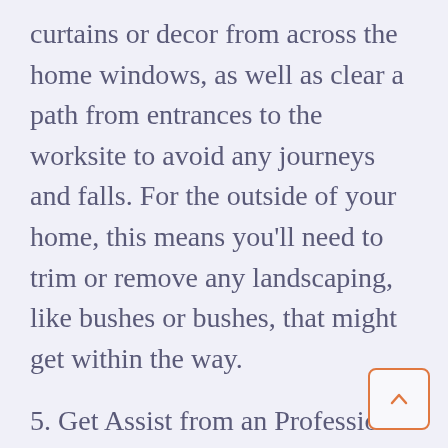curtains or decor from across the home windows, as well as clear a path from entrances to the worksite to avoid any journeys and falls. For the outside of your home, this means you'll need to trim or remove any landscaping, like bushes or bushes, that might get within the way.
5. Get Assist from an Professional
The most effective way to ensure your window replacement project is a success is to hire the right professionals to help you. Even if you can replace your windows DIY-fashion, you could still need some advice from someone who does it every day.